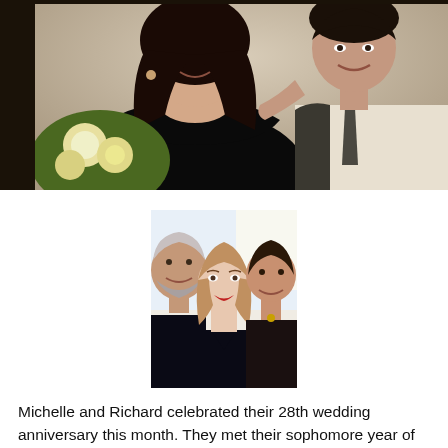[Figure (photo): Old photograph of a couple: woman with long dark hair wearing a black off-shoulder dress holding white flowers, man in shirt and tie with dark hair, posed together]
[Figure (photo): Recent photo of three people: older man with grey beard on left, young woman with light brown hair in center, older woman with short dark hair on right, all smiling]
Michelle and Richard celebrated their 28th wedding anniversary this month. They met their sophomore year of